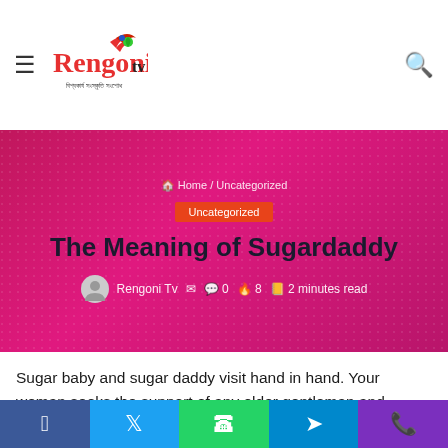Rengoni TV — site header with hamburger menu and search icon
[Figure (logo): Rengoni TV logo with red stylized text and flame/flower accent, Assamese subtitle]
Home / Uncategorized
Uncategorized
The Meaning of Sugardaddy
Rengoni Tv  0  8  2 minutes read
Sugar baby and sugar daddy visit hand in hand. Your woman seeks the support of any older gentleman and https://pamdrap.org/this-doesnt-automatically-indicate-she-has-daddy-issues-you-sense-reasonably-you-need-to-can-trust-him-inch-every-year-whenever-i-post-in-honor-of-fathers-moment-i-hear-from-mothers-who-are/ in
Facebook | Twitter | WhatsApp | Telegram | Phone